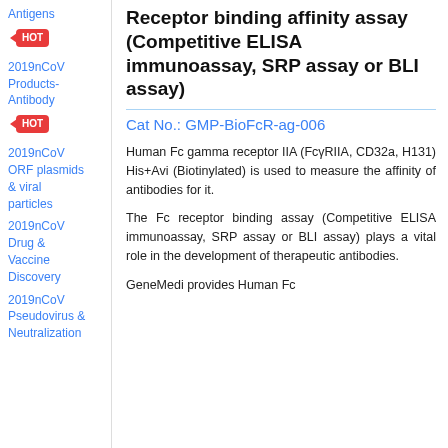Antigens
HOT
2019nCoV Products-Antibody
HOT
2019nCoV ORF plasmids & viral particles
2019nCoV Drug & Vaccine Discovery
2019nCoV Pseudovirus & Neutralization
Receptor binding affinity assay (Competitive ELISA immunoassay, SRP assay or BLI assay)
Cat No.: GMP-BioFcR-ag-006
Human Fc gamma receptor IIA (FcγRIIA, CD32a, H131) His+Avi (Biotinylated) is used to measure the affinity of antibodies for it.
The Fc receptor binding assay (Competitive ELISA immunoassay, SRP assay or BLI assay) plays a vital role in the development of therapeutic antibodies.
GeneMedi provides Human Fc